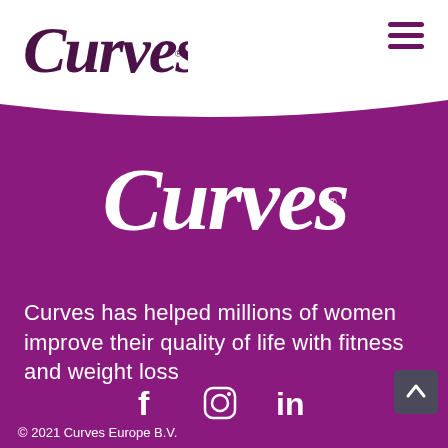[Figure (logo): Curves brand logo in dark purple/maroon script font on white background, header top-left]
[Figure (illustration): Three horizontal hamburger menu lines in dark purple, top-right corner]
[Figure (logo): Curves brand logo in white script font on purple background, center of page]
Curves has helped millions of women improve their quality of life with fitness and weight loss
[Figure (illustration): Social media icons: Facebook (f), Instagram (camera circle), LinkedIn (in) in white on purple background]
© 2021 Curves Europe B.V.